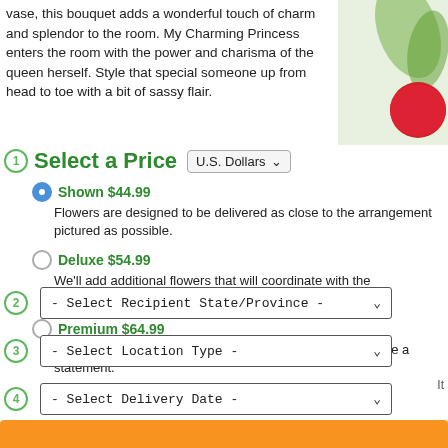vase, this bouquet adds a wonderful touch of charm and splendor to the room. My Charming Princess enters the room with the power and charisma of the queen herself. Style that special someone up from head to toe with a bit of sassy flair.
1 Select a Price  U.S. Dollars
Shown $44.99 - Flowers are designed to be delivered as close to the arrangement pictured as possible.
Deluxe $54.99 - We'll add additional flowers that will coordinate with the arrangement in both style and color.
Premium $64.99 - We'll add lots more! The premium arrangement makes quite a statement.
2 - Select Recipient State/Province -
3 - Select Location Type -
4 - Select Delivery Date -